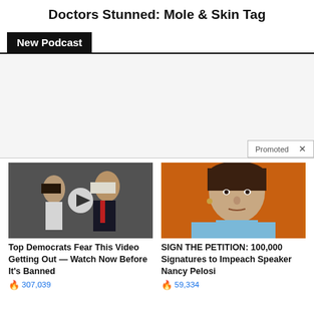Doctors Stunned: Mole & Skin Tag
New Podcast
[Figure (other): Advertisement / promotional banner area (blank/gray)]
Promoted X
[Figure (photo): Photo of Melania and Donald Trump with a video play button overlay]
Top Democrats Fear This Video Getting Out — Watch Now Before It's Banned
🔥 307,039
[Figure (photo): Photo of Nancy Pelosi against an orange background]
SIGN THE PETITION: 100,000 Signatures to Impeach Speaker Nancy Pelosi
🔥 59,334